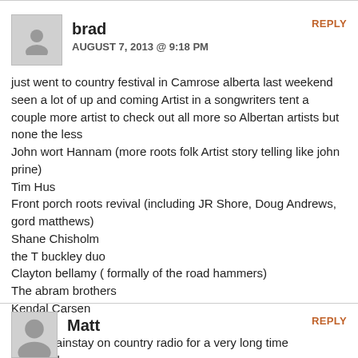brad
AUGUST 7, 2013 @ 9:18 PM
just went to country festival in Camrose alberta last weekend seen a lot of up and coming Artist in a songwriters tent a couple more artist to check out all more so Albertan artists but none the less
John wort Hannam (more roots folk Artist story telling like john prine)
Tim Hus
Front porch roots revival (including JR Shore, Doug Andrews, gord matthews)
Shane Chisholm
the T buckley duo
Clayton bellamy ( formally of the road hammers)
The abram brothers
Kendal Carsen

And a mainstay on country radio for a very long time
Terri clark
REPLY
0
Matt
REPLY